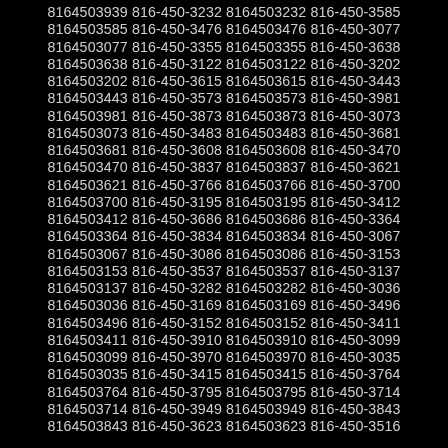8164503939 816-450-3232 8164503232 816-450-3585 8164503585 816-450-3476 8164503476 816-450-3077 8164503077 816-450-3355 8164503355 816-450-3638 8164503638 816-450-3122 8164503122 816-450-3202 8164503202 816-450-3615 8164503615 816-450-3443 8164503443 816-450-3573 8164503573 816-450-3981 8164503981 816-450-3873 8164503873 816-450-3073 8164503073 816-450-3483 8164503483 816-450-3681 8164503681 816-450-3608 8164503608 816-450-3470 8164503470 816-450-3837 8164503837 816-450-3621 8164503621 816-450-3766 8164503766 816-450-3700 8164503700 816-450-3195 8164503195 816-450-3412 8164503412 816-450-3686 8164503686 816-450-3364 8164503364 816-450-3834 8164503834 816-450-3067 8164503067 816-450-3086 8164503086 816-450-3153 8164503153 816-450-3537 8164503537 816-450-3137 8164503137 816-450-3282 8164503282 816-450-3036 8164503036 816-450-3169 8164503169 816-450-3496 8164503496 816-450-3152 8164503152 816-450-3411 8164503411 816-450-3910 8164503910 816-450-3099 8164503099 816-450-3970 8164503970 816-450-3035 8164503035 816-450-3415 8164503415 816-450-3764 8164503764 816-450-3795 8164503795 816-450-3714 8164503714 816-450-3949 8164503949 816-450-3843 8164503843 816-450-3623 8164503623 816-450-3516